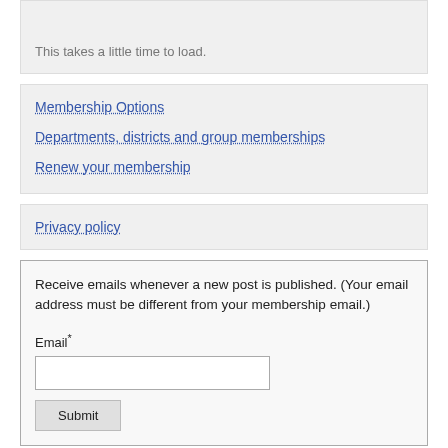This takes a little time to load.
Membership Options
Departments, districts and group memberships
Renew your membership
Privacy policy
Receive emails whenever a new post is published. (Your email address must be different from your membership email.)
Email*
Submit